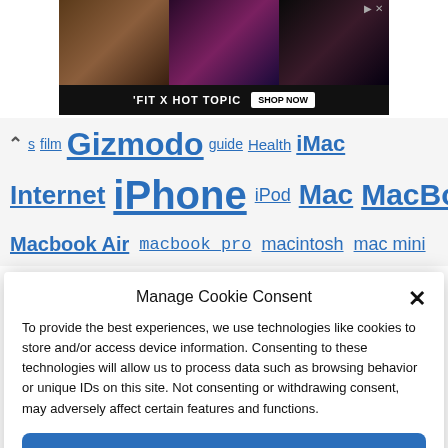[Figure (photo): Advertisement banner: 'FIT X HOT TOPIC SHOP NOW' with three fashion photos on dark background]
▲ s film Gizmodo guide Health iMac
Internet iPhone iPod Mac MacBook
Macbook Air macbook pro macintosh mac mini
Manage Cookie Consent
To provide the best experiences, we use technologies like cookies to store and/or access device information. Consenting to these technologies will allow us to process data such as browsing behavior or unique IDs on this site. Not consenting or withdrawing consent, may adversely affect certain features and functions.
Accept
Cookie Policy